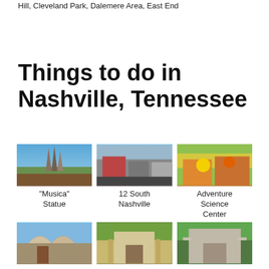Hill, Cleveland Park, Dalemere Area, East End
Things to do in Nashville, Tennessee
[Figure (photo): Photo of Musica Statue]
"Musica" Statue
[Figure (photo): Photo of 12 South Nashville]
12 South Nashville
[Figure (photo): Photo of Adventure Science Center]
Adventure Science Center
[Figure (photo): Photo of Adventureworks]
Adventureworks
[Figure (photo): Photo of Andrew]
Andrew
[Figure (photo): Photo of Belle Meade]
Belle Meade